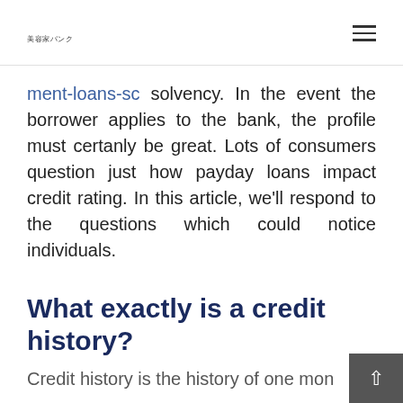美容家バンク
ment-loans-sc solvency. In the event the borrower applies to the bank, the profile must certanly be great. Lots of consumers question just how payday loans impact credit rating. In this article, we'll respond to the questions which could notice individuals.
What exactly is a credit history?
Credit history is the history of one mon